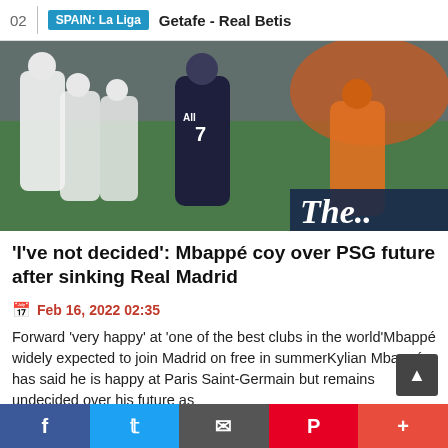02  |  SPAIN: La Liga  Getafe - Real Betis
[Figure (photo): Soccer match photo showing PSG player (Mbappé, #7) in dark navy uniform against Real Madrid players in white uniforms, with an orange-kit goalkeeper on the right. The Guardian logo partially visible in bottom right corner.]
'I've not decided': Mbappé coy over PSG future after sinking Real Madrid
Feb 16, 2022 02:35
Forward 'very happy' at 'one of the best clubs in the world'Mbappé widely expected to join Madrid on free in summerKylian Mbappé has said he is happy at Paris Saint-Germain but remains undecided over his future as